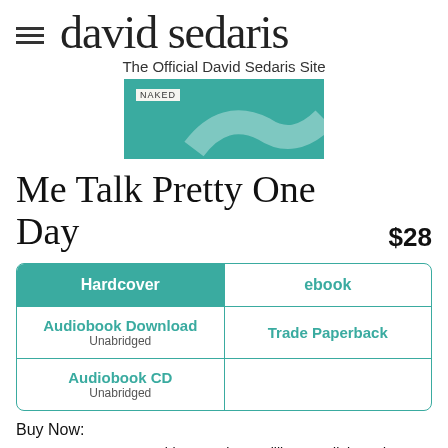david sedaris — The Official David Sedaris Site
[Figure (photo): Partial view of a book cover with teal/green background, 'NAKED' label visible]
Me Talk Pretty One Day
$28
| Hardcover | ebook |
| Audiobook Download
Unabridged | Trade Paperback |
| Audiobook CD
Unabridged |  |
Buy Now:
Amazon   Barnes & Noble   Books-A-Million   Indiebound